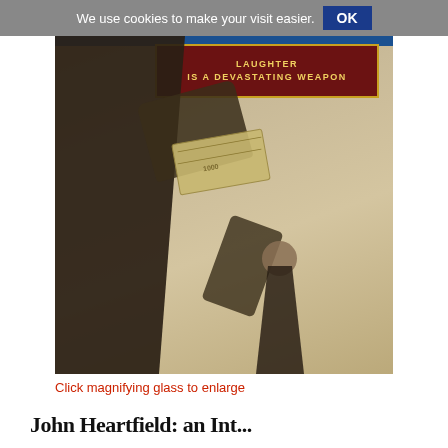We use cookies to make your visit easier. OK
[Figure (photo): Sepia-toned photomontage showing a large dark figure on the left handing money to a smaller figure who appears to be saluting. A red banner at the top reads 'LAUGHTER IS A DEVASTATING WEAPON'. The image is part of a John Heartfield exhibition or publication.]
Click magnifying glass to enlarge
John Heartfield: an Int...